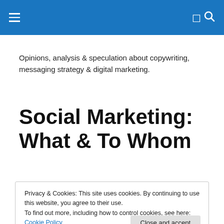Opinions, analysis & speculation about copywriting, messaging strategy & digital marketing.
Social Marketing: What & To Whom
Privacy & Cookies: This site uses cookies. By continuing to use this website, you agree to their use.
To find out more, including how to control cookies, see here: Cookie Policy
Close and accept
chatbots as they would to a trusted friend. And then there's